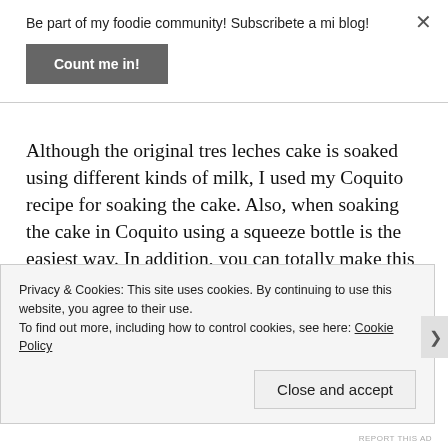Be part of my foodie community! Subscribete a mi blog!
Count me in!
Although the original tres leches cake is soaked using different kinds of milk, I used my Coquito recipe for soaking the cake. Also, when soaking the cake in Coquito using a squeeze bottle is the easiest way. In addition, you can totally make this cake vegan by replacing the eggs with aquafaba. Finally, see notes for
Privacy & Cookies: This site uses cookies. By continuing to use this website, you agree to their use.
To find out more, including how to control cookies, see here: Cookie Policy
Close and accept